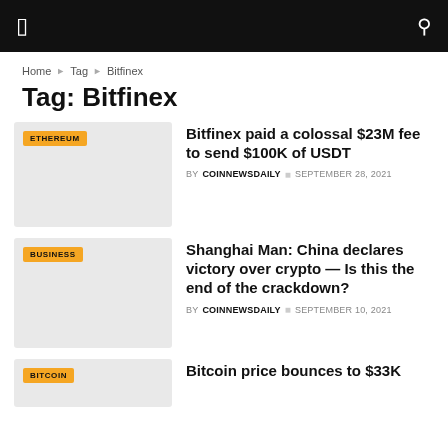Navigation bar with menu and search icons
Home › Tag › Bitfinex
Tag: Bitfinex
[Figure (photo): Article thumbnail with ETHEREUM badge]
Bitfinex paid a colossal $23M fee to send $100K of USDT
BY COINNEWSDAILY  ◈ SEPTEMBER 28, 2021
[Figure (photo): Article thumbnail with BUSINESS badge]
Shanghai Man: China declares victory over crypto — Is this the end of the crackdown?
BY COINNEWSDAILY  ◈ SEPTEMBER 10, 2021
[Figure (photo): Article thumbnail with BITCOIN badge]
Bitcoin price bounces to $33K